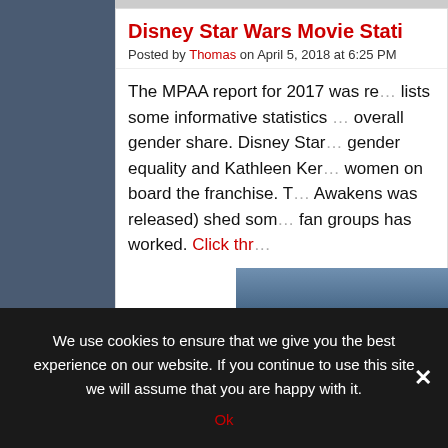Disney Star Wars Movie Stati...
Posted by Thomas on April 5, 2018 at 6:25 PM
The MPAA report for 2017 was re... lists some informative statistics ... overall gender share. Disney Star... gender equality and Kathleen Ker... women on board the franchise. T... Awakens was released) shed som... fan groups has worked. Click thro...
[Figure (photo): Group photo of Star Wars fans or cast members]
We use cookies to ensure that we give you the best experience on our website. If you continue to use this site we will assume that you are happy with it.
Ok